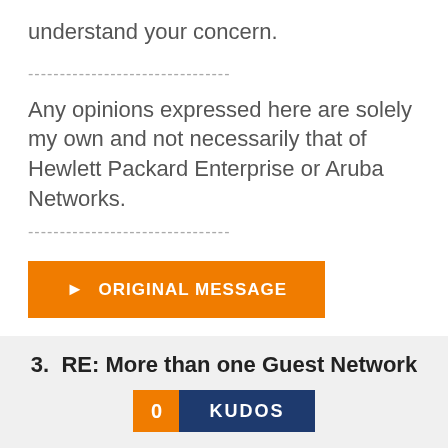understand your concern.
--------------------------------
Any opinions expressed here are solely my own and not necessarily that of Hewlett Packard Enterprise or Aruba Networks.
--------------------------------
[Figure (other): Orange button labeled ORIGINAL MESSAGE with arrow icon]
3.  RE: More than one Guest Network
[Figure (other): Orange box with 0 and dark blue KUDOS button]